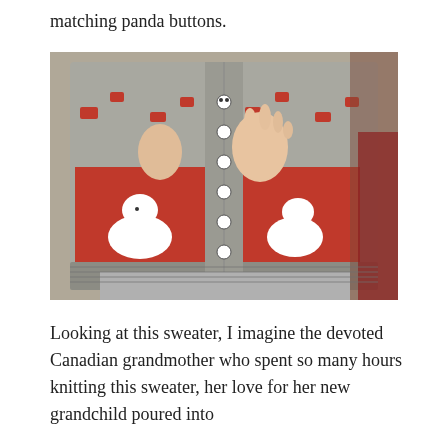matching panda buttons.
[Figure (photo): Close-up photo of a child wearing a hand-knitted grey and red cardigan sweater featuring white dog/panda motifs on the front panels and panda-shaped buttons down the center front opening.]
Looking at this sweater, I imagine the devoted Canadian grandmother who spent so many hours knitting this sweater, her love for her new grandchild poured into